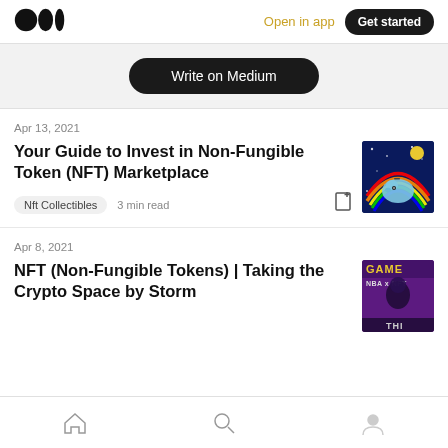Medium logo | Open in app | Get started
Write on Medium
Apr 13, 2021
Your Guide to Invest in Non-Fungible Token (NFT) Marketplace
Nft Collectibles  3 min read
[Figure (illustration): NFT piggy bank rainbow illustration on dark blue background]
Apr 8, 2021
NFT (Non-Fungible Tokens) | Taking the Crypto Space by Storm
[Figure (illustration): GAME NBA x NFT promotional image on purple background]
Home | Search | Profile navigation icons